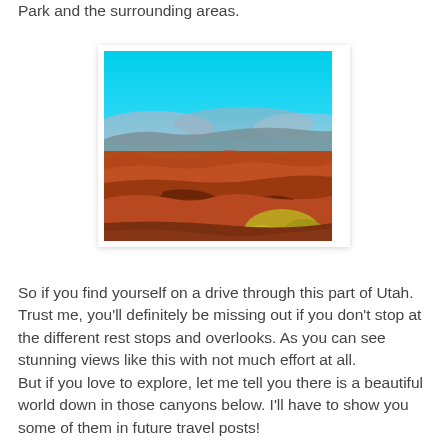Park and the surrounding areas.
[Figure (photo): Aerial view of a canyon landscape in Utah with red-orange rock formations, winding canyon floor, a yellow-green shrub in the foreground, and a vivid blue sky.]
So if you find yourself on a drive through this part of Utah. Trust me, you'll definitely be missing out if you don't stop at the different rest stops and overlooks. As you can see stunning views like this with not much effort at all.
But if you love to explore, let me tell you there is a beautiful world down in those canyons below. I'll have to show you some of them in future travel posts!